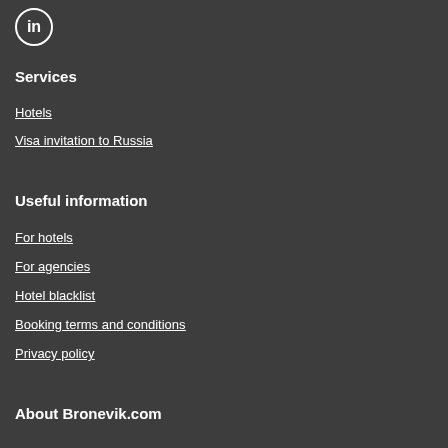[Figure (logo): LinkedIn icon in a circle, white on dark background]
Services
Hotels
Visa invitation to Russia
Useful information
For hotels
For agencies
Hotel blacklist
Booking terms and conditions
Privacy policy
About Bronevik.com